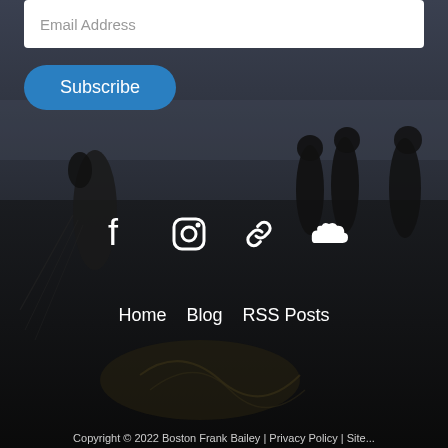Email Address
Subscribe
[Figure (illustration): Dark moody beach scene with silhouettes of people at dusk, serving as website footer background]
[Figure (infographic): Row of four white social media icons: Facebook, Instagram, link/chain icon, SoundCloud]
Home   Blog   RSS Posts
Copyright © 2022 Boston Frank Bailey | Privacy Policy | Site...